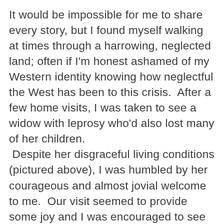It would be impossible for me to share every story, but I found myself walking at times through a harrowing, neglected land; often if I'm honest ashamed of my Western identity knowing how neglectful the West has been to this crisis.  After a few home visits, I was taken to see a widow with leprosy who'd also lost many of her children.  Despite her disgraceful living conditions (pictured above), I was humbled by her courageous and almost jovial welcome to me.  Our visit seemed to provide some joy and I was encouraged to see her attending to her crops.  She had recently received some seeds and tools from HHA and BMS.
Just several minutes walk from her house and I was introduced to another temporary shelter.  I say